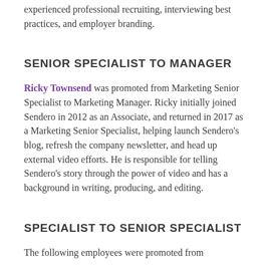experienced professional recruiting, interviewing best practices, and employer branding.
SENIOR SPECIALIST TO MANAGER
Ricky Townsend was promoted from Marketing Senior Specialist to Marketing Manager. Ricky initially joined Sendero in 2012 as an Associate, and returned in 2017 as a Marketing Senior Specialist, helping launch Sendero's blog, refresh the company newsletter, and head up external video efforts. He is responsible for telling Sendero's story through the power of video and has a background in writing, producing, and editing.
SPECIALIST TO SENIOR SPECIALIST
The following employees were promoted from